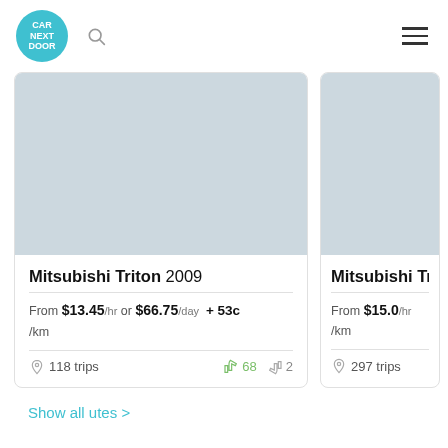Car Next Door
[Figure (screenshot): Car listing card for Mitsubishi Triton 2009. Light blue-grey placeholder image. From $13.45/hr or $66.75/day + 53c/km. 118 trips. 68 thumbs up, 2 thumbs down.]
[Figure (screenshot): Partial car listing card for Mitsubishi Triton (year cut off). Light blue-grey placeholder image. From $15.0/hr + /km. 297 trips.]
Show all utes >